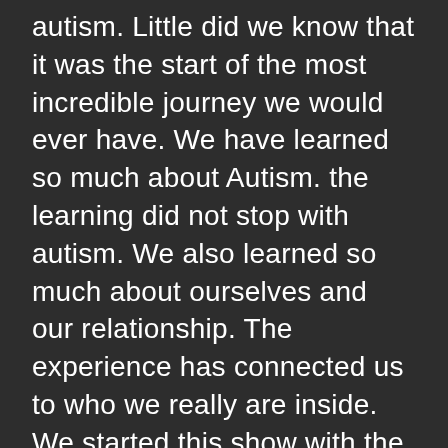autism. Little did we know that it was the start of the most incredible journey we would ever have. We have learned so much about Autism. the learning did not stop with autism. We also learned so much about ourselves and our relationship. The experience has connected us to who we really are inside. We started this show with the idea that we would be able to share our experiences with other parents and bring on guests to provide valuable information and perspectives. We know how many challenges families face and we are here to do whatever we can to help. Outside of being a father, husband and podcast host; We run a a toy company called Greyson & Co, am in-home speech pathology business, a support group and a Vlog. On the moo...